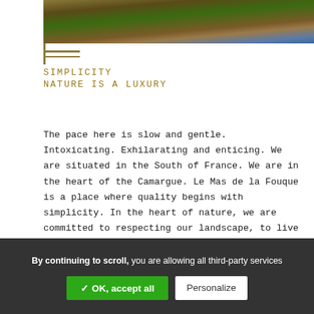[Figure (photo): Partial nature/landscape photo showing reeds, water, and earthy tones — Camargue wetland scene]
SIMPLICITY
NATURE IS A LUXURY
The pace here is slow and gentle. Intoxicating. Exhilarating and enticing. We are situated in the South of France. We are in the heart of the Camargue. Le Mas de la Fouque is a place where quality begins with simplicity. In the heart of nature, we are committed to respecting our landscape, to live in total harmony with the flora and fauna that surrounds us. A stay at Le Mas de la Fouque is above all a time to enjoy every moment that nature has to offer.
By continuing to scroll, you are allowing all third-party services
✓ OK, accept all
Personalize